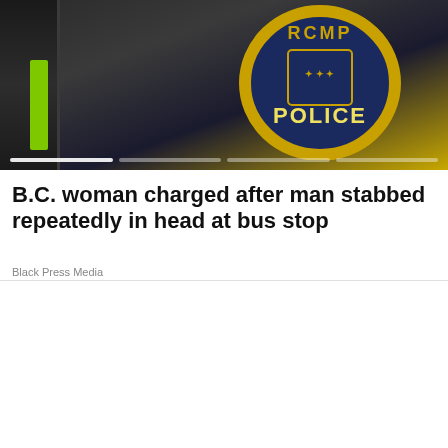[Figure (photo): RCMP police badge close-up with walkie-talkie radio and green strap visible, carousel with dot indicators at bottom]
B.C. woman charged after man stabbed repeatedly in head at bus stop
Black Press Media
[Figure (photo): Forest scene with bare trees, red element on left side, back-to-top button visible in bottom right]
[Figure (infographic): Advertisement banner: KCT - KELOWNA, SEPTEMBER 12th, 2022, ALL AGES! EVERYONE WELCOME!, 250.762.5050 ILoveABBA.com, with group photo of performers]